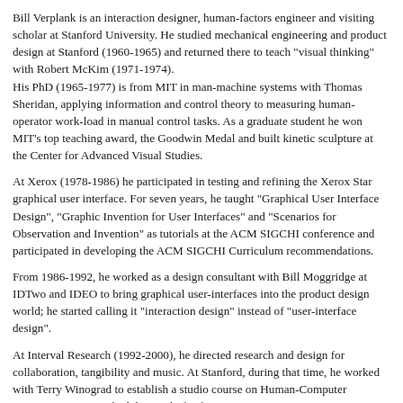Bill Verplank is an interaction designer, human-factors engineer and visiting scholar at Stanford University. He studied mechanical engineering and product design at Stanford (1960-1965) and returned there to teach "visual thinking" with Robert McKim (1971-1974).
His PhD (1965-1977) is from MIT in man-machine systems with Thomas Sheridan, applying information and control theory to measuring human-operator work-load in manual control tasks. As a graduate student he won MIT's top teaching award, the Goodwin Medal and built kinetic sculpture at the Center for Advanced Visual Studies.
At Xerox (1978-1986) he participated in testing and refining the Xerox Star graphical user interface. For seven years, he taught "Graphical User Interface Design", "Graphic Invention for User Interfaces" and "Scenarios for Observation and Invention" as tutorials at the ACM SIGCHI conference and participated in developing the ACM SIGCHI Curriculum recommendations.
From 1986-1992, he worked as a design consultant with Bill Moggridge at IDTwo and IDEO to bring graphical user-interfaces into the product design world; he started calling it "interaction design" instead of "user-interface design".
At Interval Research (1992-2000), he directed research and design for collaboration, tangibility and music. At Stanford, during that time, he worked with Terry Winograd to establish a studio course on Human-Computer Interaction Design which he taught for five years.
Since 2000, he has been a part-time lecturer at CCRMA, the Center for Computer Research in Music and Acoustics, at Stanford, teaching a course on designing input devices. He also served on the Steering Committee for the Interaction Design Institute Ivrea (2000-2005).